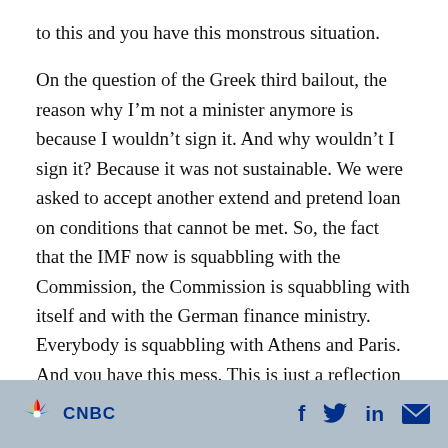to this and you have this monstrous situation.

On the question of the Greek third bailout, the reason why I'm not a minister anymore is because I wouldn't sign it. And why wouldn't I sign it? Because it was not sustainable. We were asked to accept another extend and pretend loan on conditions that cannot be met. So, the fact that the IMF now is squabbling with the Commission, the Commission is squabbling with itself and with the German finance ministry. Everybody is squabbling with Athens and Paris. And you have this mess. This is just a reflection of the fact that we have been extending and pretending a crisis
CNBC [logo] | f [Facebook] | Twitter | in [LinkedIn] | [Email]